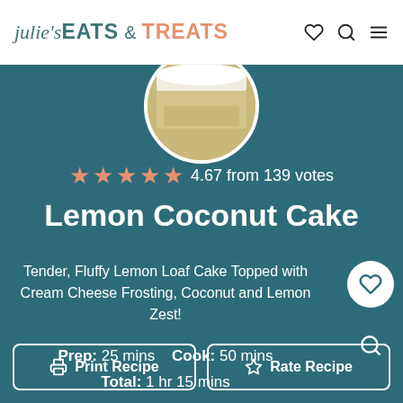julie's EATS & TREATS
[Figure (photo): Circular cropped photo of lemon coconut cake slices showing white frosting and coconut topping]
4.67 from 139 votes
Lemon Coconut Cake
Tender, Fluffy Lemon Loaf Cake Topped with Cream Cheese Frosting, Coconut and Lemon Zest!
Prep: 25 mins   Cook: 50 mins   Total: 1 hr 15 mins